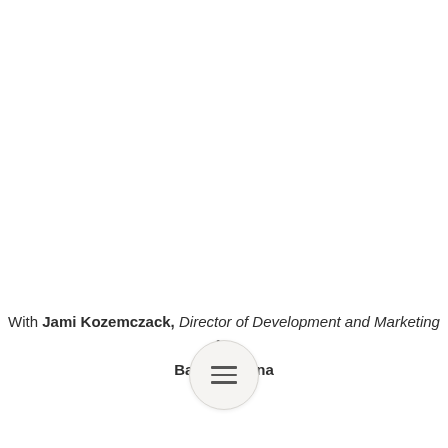With Jami Kozemczack, Director of Development and Marketing for Ballet Arizona
[Figure (other): Circular menu/hamburger button icon with three horizontal lines]